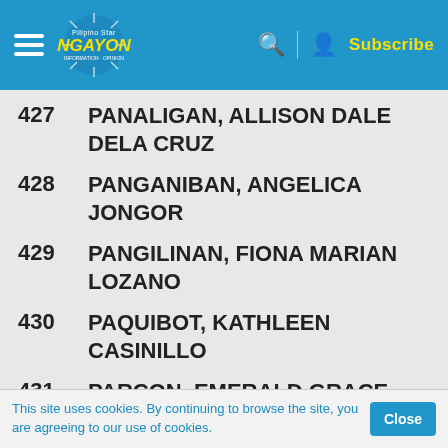Ngayon - Subscribe
427   PANALIGAN, ALLISON DALE  DELA CRUZ
428   PANGANIBAN, ANGELICA  JONGOR
429   PANGILINAN, FIONA MARIAN  LOZANO
430   PAQUIBOT, KATHLEEN  CASINILLO
431   PARCON, EMERALD GRACE  DAGUIA
432   PARENTELA, AARON MART  GONZALES
This site uses cookies. By continuing to browse the site, you are agreeing to our use of cookies.